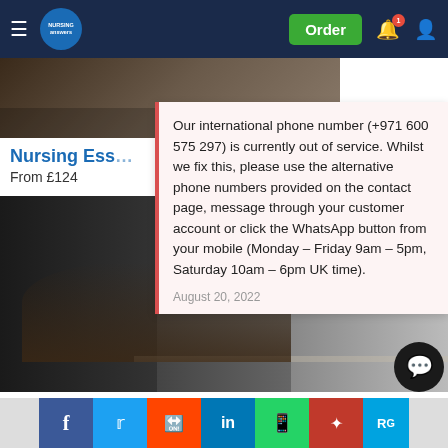Nursing Answers - Order | Notifications | Account
[Figure (photo): Top image of a study/desk scene partially visible]
Nursing Ess...
From £124
[Figure (photo): Photo of a person studying at a desk with a lamp in a dimly lit room]
Our international phone number (+971 600 575 297) is currently out of service. Whilst we fix this, please use the alternative phone numbers provided on the contact page, message through your customer account or click the WhatsApp button from your mobile (Monday – Friday 9am – 5pm, Saturday 10am – 6pm UK time).
August 20, 2022
Nursing Dissertation Service
From £136
Social share: Facebook, Twitter, Reddit, LinkedIn, WhatsApp, Mendeley, ResearchGate